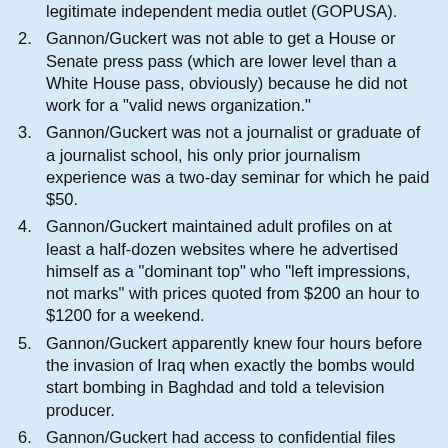legitimate independent media outlet (GOPUSA).
2. Gannon/Guckert was not able to get a House or Senate press pass (which are lower level than a White House pass, obviously) because he did not work for a "valid news organization."
3. Gannon/Guckert was not a journalist or graduate of a journalist school, his only prior journalism experience was a two-day seminar for which he paid $50.
4. Gannon/Guckert maintained adult profiles on at least a half-dozen websites where he advertised himself as a "dominant top" who "left impressions, not marks" with prices quoted from $200 an hour to $1200 for a weekend.
5. Gannon/Guckert apparently knew four hours before the invasion of Iraq when exactly the bombs would start bombing in Baghdad and told a television producer.
6. Gannon/Guckert had access to confidential files which revealed the identity of CIA operative Valerie Plame.
7. Gannon/Gucket's stories for Talon News service (which was the front organization/website that